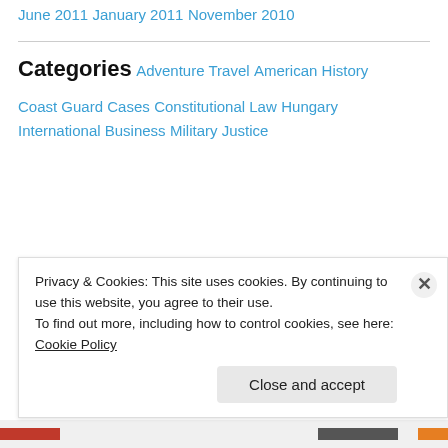June 2011
January 2011
November 2010
Categories
Adventure Travel
American History
Coast Guard Cases
Constitutional Law
Hungary
International Business
Military Justice
Privacy & Cookies: This site uses cookies. By continuing to use this website, you agree to their use.
To find out more, including how to control cookies, see here: Cookie Policy
Close and accept